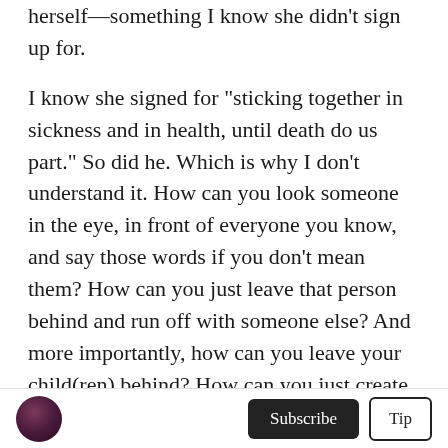herself—something I know she didn't sign up for.
I know she signed for "sticking together in sickness and in health, until death do us part." So did he. Which is why I don't understand it. How can you look someone in the eye, in front of everyone you know, and say those words if you don't mean them? How can you just leave that person behind and run off with someone else? And more importantly, how can you leave your child(ren) behind? How can you just create life, and not care about it the slightest bit?
I'd like him to tell me why my mom wasn't enough